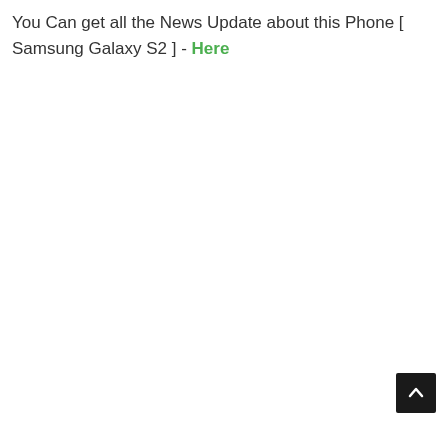You Can get all the News Update about this Phone [ Samsung Galaxy S2 ] - Here